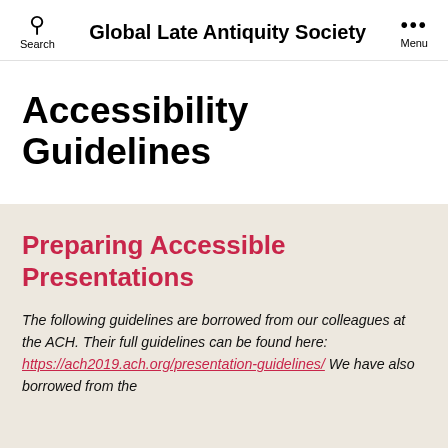Search | Global Late Antiquity Society | Menu
Accessibility Guidelines
Preparing Accessible Presentations
The following guidelines are borrowed from our colleagues at the ACH. Their full guidelines can be found here: https://ach2019.ach.org/presentation-guidelines/ We have also borrowed from the